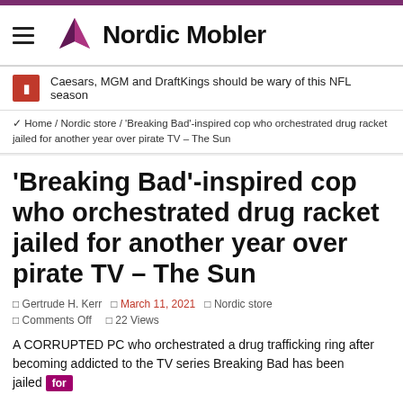Nordic Mobler
Caesars, MGM and DraftKings should be wary of this NFL season
Home / Nordic store / 'Breaking Bad'-inspired cop who orchestrated drug racket jailed for another year over pirate TV – The Sun
'Breaking Bad'-inspired cop who orchestrated drug racket jailed for another year over pirate TV – The Sun
Gertrude H. Kerr   March 11, 2021   Nordic store   Comments Off   22 Views
A CORRUPTED PC who orchestrated a drug trafficking ring after becoming addicted to the TV series Breaking Bad has been jailed for